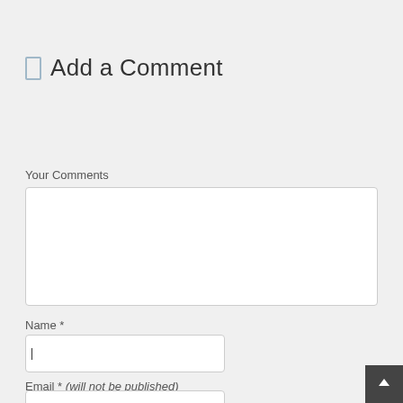Add a Comment
Your Comments
[Figure (screenshot): Empty textarea input field for user comments]
Name *
[Figure (screenshot): Empty text input field for name]
Email * (will not be published)
[Figure (screenshot): Partial email input field visible at bottom]